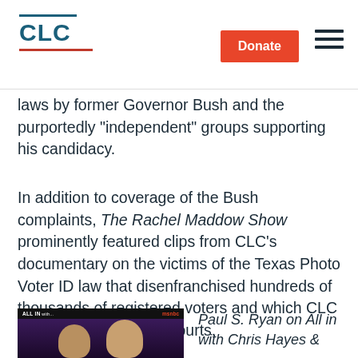CLC | Donate
laws by former Governor Bush and the purportedly “independent” groups supporting his candidacy.
In addition to coverage of the Bush complaints, The Rachel Maddow Show prominently featured clips from CLC’s documentary on the victims of the Texas Photo Voter ID law that disenfranchised hundreds of thousands of registered voters and which CLC has challenged in the courts.
[Figure (screenshot): TV screenshot from MSNBC All In program showing two male news anchors]
Paul S. Ryan on All in with Chris Hayes &